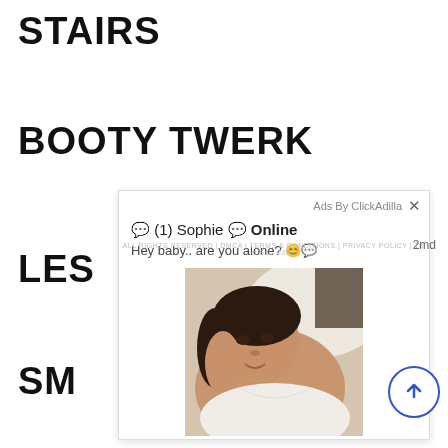STAIRS
BOOTY TWERK
LES
SM
[Figure (screenshot): Ad overlay from ClickAdilla showing a chat message from '(1) Sophie Online' saying 'Hey baby.. are you alone?' with a photo of a woman lying down. An X close button is in the top right. Bottom shows small text and a '2md' timestamp. A blue circular scroll-to-top button is visible at bottom right.]